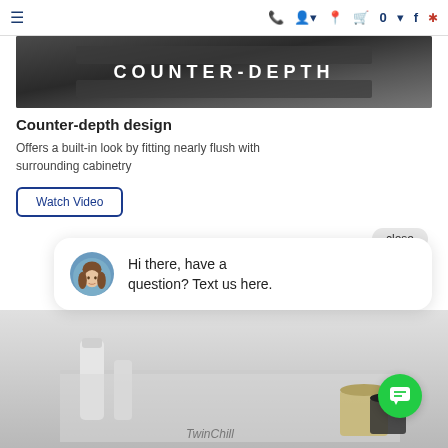Navigation bar with menu, phone, user, location, cart (0), facebook, yelp icons
[Figure (photo): Counter-depth refrigerator promotional image with text 'COUNTER-DEPTH' overlaid in white letters on dark background]
Counter-depth design
Offers a built-in look by fitting nearly flush with surrounding cabinetry
Watch Video
close
[Figure (screenshot): Chat popup with avatar photo of woman and text: Hi there, have a question? Text us here.]
[Figure (photo): Interior of a refrigerator showing bottles and jars with TwinChill label visible at bottom]
[Figure (other): Green circular chat button with message icon]